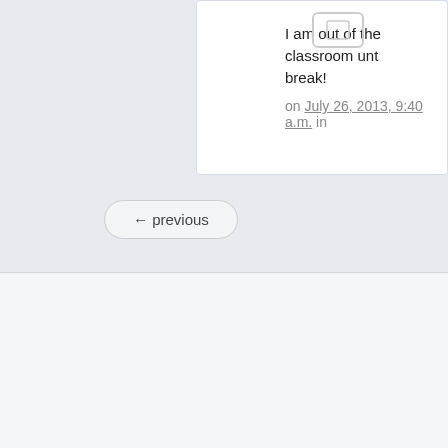I am out of the classroom until break!
on July 26, 2013, 9:40 a.m. in
← previous
P2PU Schools:
[Figure (illustration): Blue shield icon with globe/world symbol — P2PU school badge. Red shield with letter A badge below.]
SOCIAL INNOVATION
Thanks for visiting P2PU. This site is no longer being updated. Head to www.p2pu.org for the latest information. If you're looking to create an open online courses, we now support Canvas